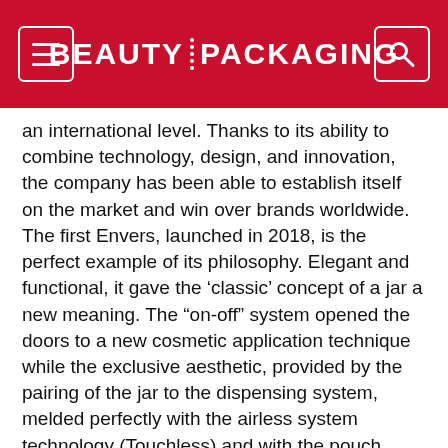BEAUTY PACKAGING
an international level. Thanks to its ability to combine technology, design, and innovation, the company has been able to establish itself on the market and win over brands worldwide. The first Envers, launched in 2018, is the perfect example of its philosophy. Elegant and functional, it gave the ‘classic’ concept of a jar a new meaning. The “on-off” system opened the doors to a new cosmetic application technique while the exclusive aesthetic, provided by the pairing of the jar to the dispensing system, melded perfectly with the airless system technology (Touchless) and with the pouch enclosed within the jar ensuring product purity. This explains why Envers has become an iconic packaging.
ENVERS GLAS: THE SAFETY OF AIRLESS, THE EXQUISITE QUALITY OF GLASS